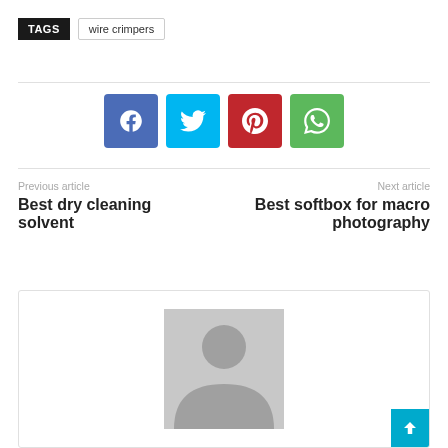TAGS   wire crimpers
[Figure (infographic): Social share buttons: Facebook (blue), Twitter (cyan), Pinterest (red), WhatsApp (green)]
Previous article
Best dry cleaning solvent
Next article
Best softbox for macro photography
[Figure (photo): Author avatar placeholder — grey silhouette of a person on grey background]